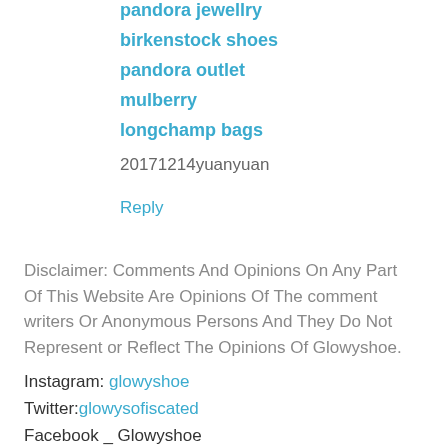pandora jewellry
birkenstock shoes
pandora outlet
mulberry
longchamp bags
20171214yuanyuan
Reply
Disclaimer: Comments And Opinions On Any Part Of This Website Are Opinions Of The comment writers Or Anonymous Persons And They Do Not Represent or Reflect The Opinions Of Glowyshoe.
Instagram: glowyshoe
Twitter:glowysofiscated
Facebook _ Glowyshoe
GooglePlus_ GloryEkarika
LinkedIn _ GloryEkarika
Email: glorylekarika@gmail...